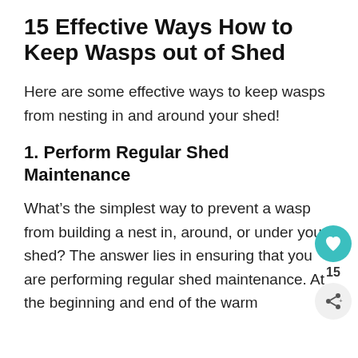15 Effective Ways How to Keep Wasps out of Shed
Here are some effective ways to keep wasps from nesting in and around your shed!
1. Perform Regular Shed Maintenance
What’s the simplest way to prevent a wasp from building a nest in, around, or under your shed? The answer lies in ensuring that you are performing regular shed maintenance. At the beginning and end of the warm